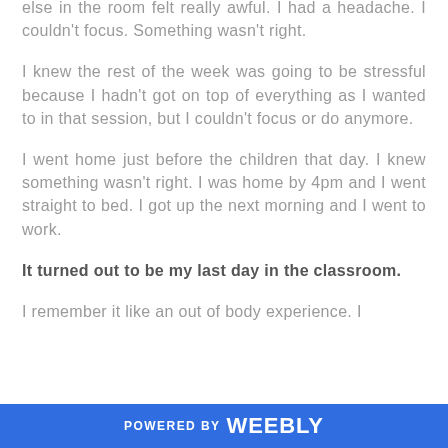else in the room felt really awful. I had a headache. I couldn't focus. Something wasn't right.
I knew the rest of the week was going to be stressful because I hadn't got on top of everything as I wanted to in that session, but I couldn't focus or do anymore.
I went home just before the children that day. I knew something wasn't right. I was home by 4pm and I went straight to bed. I got up the next morning and I went to work.
It turned out to be my last day in the classroom.
I remember it like an out of body experience. I
POWERED BY weebly